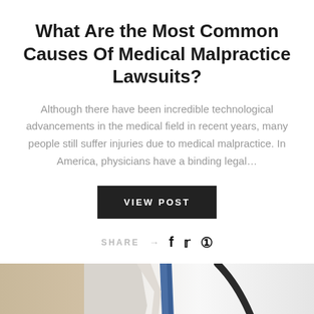What Are the Most Common Causes Of Medical Malpractice Lawsuits?
Although there have been incredible technological advancements in the medical field in recent years, many people still suffer injuries due to medical malpractice. In America, physicians have a binding legal…
VIEW POST
SHARE → f ⓟ
[Figure (photo): Close-up photo of a doctor in white coat with a Littmann Spirit stethoscope around the neck, blurred background]